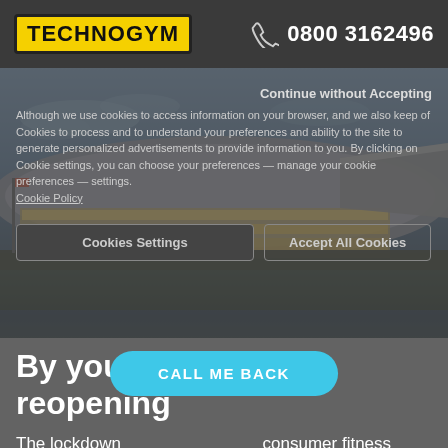TechnoGym | 0800 3162496
[Figure (photo): Exterior view of a large modern sports/gym facility with arched roof structure illuminated at dusk, with blue sky and green fields]
Continue without Accepting
Although we use cookies to access information on your browser, and we also keep of Cookies to process and to understand your preferences and ability to the site to generate personalized advertisements to provide information to you. By clicking on Cookie settings, you can choose your preferences — manage your cookie preferences — settings.
Cookie Policy
Cookies Settings   Accept All Cookies
By your side for the reopening
The lockdown ... consumer fitness demands in the market. It is important
CALL ME BACK